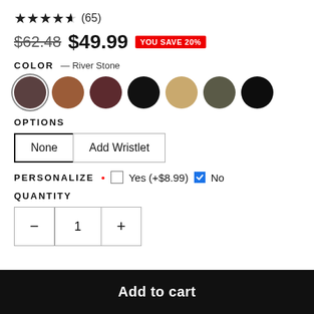★★★★½ (65)
$62.48  $49.99  YOU SAVE 20%
COLOR — River Stone
[Figure (illustration): Seven circular color swatches: dark gray-brown (selected), medium brown, dark maroon, black, tan/wheat, dark olive, black]
OPTIONS
None | Add Wristlet
PERSONALIZE * [ ] Yes (+$8.99) [✓] No
QUANTITY
- 1 +
Add to cart